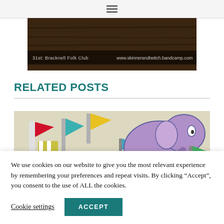[Figure (photo): Navigation bar with hamburger menu icon at top of page]
[Figure (photo): Bottom portion of a performance or event image showing text: '31st: Bracknell Folk Club' and 'www.skinnerandtwitch.bandcamp.com' on a dark wooden background]
RELATED POSTS
[Figure (illustration): Colorful cartoon illustration showing animated characters with flags and a large purple elephant-like figure on a beige background]
We use cookies on our website to give you the most relevant experience by remembering your preferences and repeat visits. By clicking “Accept”, you consent to the use of ALL the cookies.
Cookie settings
ACCEPT